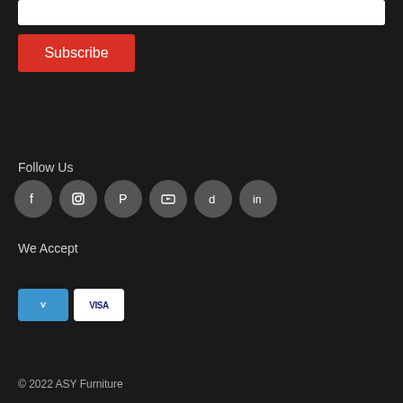[Figure (screenshot): White input bar at the top]
Subscribe
Follow Us
[Figure (infographic): Social media icons: Facebook, Instagram, Pinterest, YouTube, TikTok, LinkedIn]
We Accept
[Figure (infographic): Payment method badges: AMEX, Apple Pay, Diners Club, Discover, Meta Pay, Google Pay, Mastercard, PayPal, Shop Pay, Venmo, Visa]
© 2022 ASY Furniture